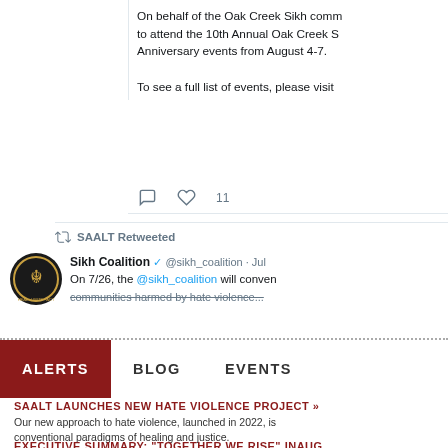On behalf of the Oak Creek Sikh comm to attend the 10th Annual Oak Creek S Anniversary events from August 4-7. To see a full list of events, please visit
SAALT Retweeted
Sikh Coalition @sikh_coalition · Jul  On 7/26, the @sikh_coalition will conven communities harmed by hate violence...
ALERTS  BLOG  EVENTS
SAALT LAUNCHES NEW HATE VIOLENCE PROJECT » Our new approach to hate violence, launched in 2022, is conventional paradigms of healing and justice.
EXECUTIVE SUMMARY: "TOGETHER WE RISE" INAUG